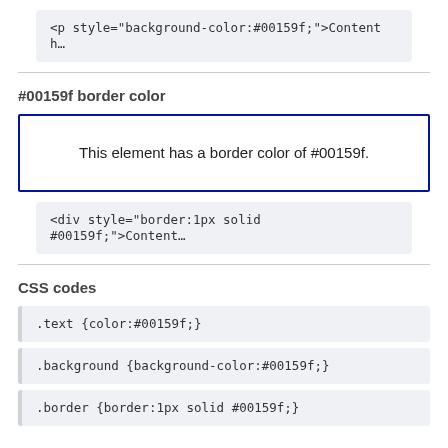<p style="background-color:#00159f;">Content h…
#00159f border color
This element has a border color of #00159f.
<div style="border:1px solid #00159f;">Content…
CSS codes
.text {color:#00159f;}
.background {background-color:#00159f;}
.border {border:1px solid #00159f;}